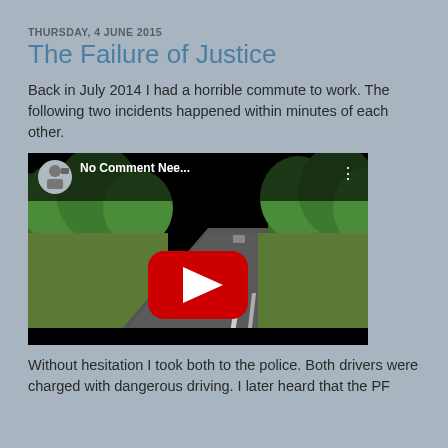THURSDAY, 4 JUNE 2015
The Failure of Justice
Back in July 2014 I had a horrible commute to work. The following two incidents happened within minutes of each other.
[Figure (screenshot): YouTube video thumbnail showing a road through trees with overlay title 'No Comment Nee...' and YouTube play button]
Without hesitation I took both to the police. Both drivers were charged with dangerous driving. I later heard that the PF